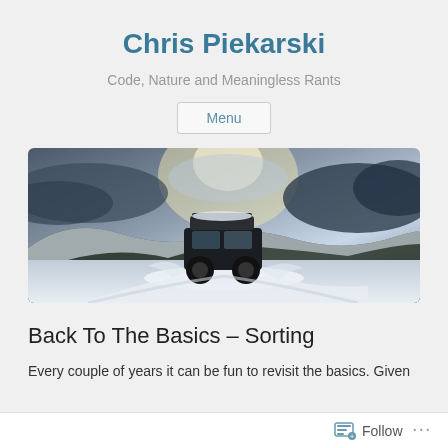Chris Piekarski
Code, Nature and Meaningless Rants
Menu
[Figure (photo): A 4WD vehicle driving through a snowy landscape with dramatic cloudy sky, snow-covered hills and shrubs in the background.]
Back To The Basics – Sorting
Every couple of years it can be fun to revisit the basics. Given
Follow  •••